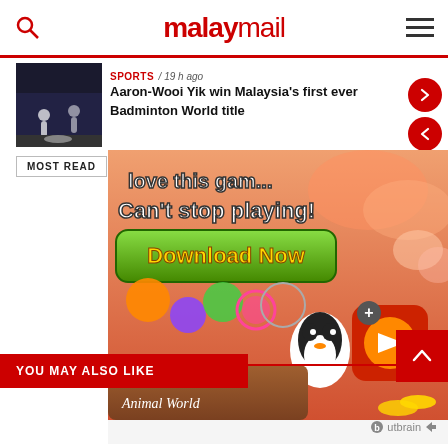malaymail
SPORTS / 19 h ago
Aaron-Wooi Yik win Malaysia's first ever Badminton World title
MOST READ
[Figure (illustration): Game advertisement for Bubble Shooter Animal World showing colorful bubbles, a penguin character, and text 'love this game Can't stop playing! Download Now']
YOU MAY ALSO LIKE
[Figure (logo): Outbrain logo]